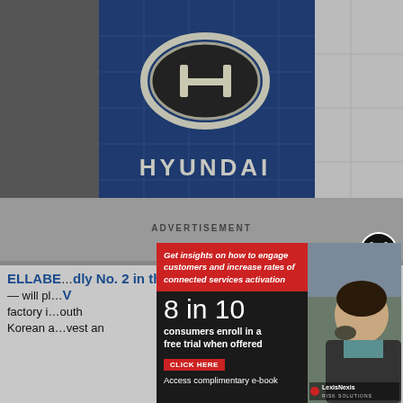[Figure (photo): Hyundai dealership building exterior with large Hyundai logo (H badge) on blue tiled wall and HYUNDAI text signage below]
ADVERTISEMENT
[Figure (photo): Close (X) button circle icon in black and white]
ELLABE... ...dly No. 2 in the ... quarter — will pl... ...V factory i... ...outh Korean a... ...vest an
[Figure (infographic): LexisNexis Risk Solutions advertisement overlay: Red strip header reading 'Get insights on how to engage customers and increase rates of connected services activation'. Large text '8 in 10 consumers enroll in a free trial when offered'. Red 'CLICK HERE' button. 'Access complimentary e-book'. Photo of woman in car. LexisNexis Risk Solutions logo.]